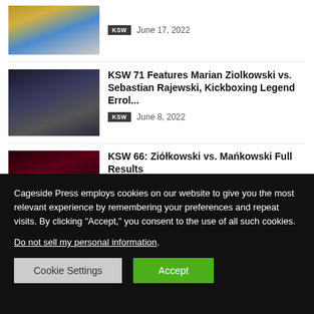[Figure (photo): Partial view of fighters/people at KSW event weigh-in, yellow and teal outfits visible]
KSW   June 17, 2022
[Figure (photo): Two men, one in suit beside fighter holding championship belt at KSW event]
KSW 71 Features Marian Ziolkowski vs. Sebastian Rajewski, Kickboxing Legend Errol...
KSW   June 8, 2022
[Figure (photo): Fighter in red-lit arena at KSW 66 event]
KSW 66: Ziółkowski vs. Mańkowski Full Results
EVENTS   January 15, 2022
Cageside Press employs cookies on our website to give you the most relevant experience by remembering your preferences and repeat visits. By clicking “Accept,” you consent to the use of all such cookies.
Do not sell my personal information.
Cookie Settings   Accept